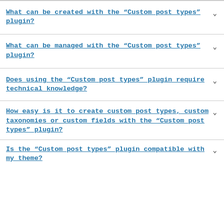What can be created with the “Custom post types” plugin?
What can be managed with the “Custom post types” plugin?
Does using the “Custom post types” plugin require technical knowledge?
How easy is it to create custom post types, custom taxonomies or custom fields with the “Custom post types” plugin?
Is the “Custom post types” plugin compatible with my theme?